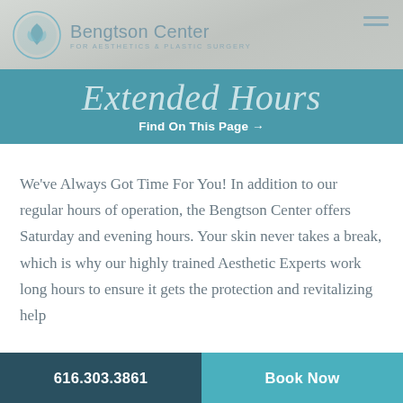[Figure (logo): Bengtson Center for Aesthetics & Plastic Surgery logo with teal leaf circle icon]
Extended Hours
Find On This Page →
We've Always Got Time For You! In addition to our regular hours of operation, the Bengtson Center offers Saturday and evening hours. Your skin never takes a break, which is why our highly trained Aesthetic Experts work long hours to ensure it gets the protection and revitalizing help
616.303.3861   Book Now